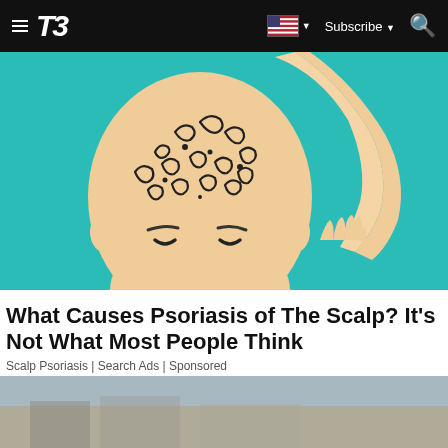T3 | Subscribe
[Figure (illustration): Illustrated image of a bald person scratching their head against a teal background, with swirling pattern on scalp representing psoriasis]
What Causes Psoriasis of The Scalp? It's Not What Most People Think
Scalp Psoriasis | Search Ads | Sponsored
[Figure (photo): Partial photo strip at bottom of page, appears to show an outdoor scene]